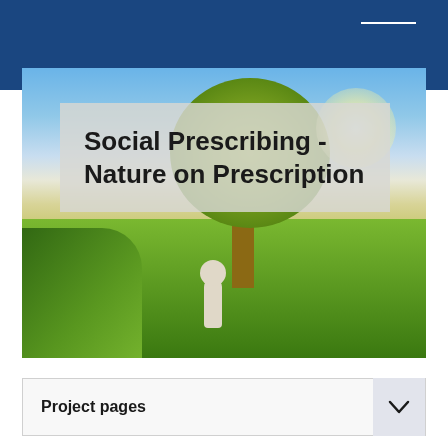[Figure (photo): Person standing in a sunny green field with a large tree in the background, viewed from behind]
Social Prescribing - Nature on Prescription
Project pages